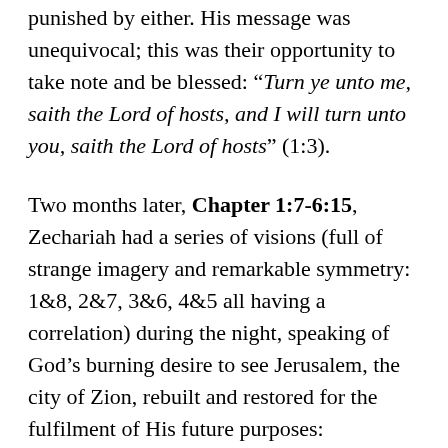punished by either. His message was unequivocal; this was their opportunity to take note and be blessed: “Turn ye unto me, saith the Lord of hosts, and I will turn unto you, saith the Lord of hosts” (1:3).
Two months later, Chapter 1:7-6:15, Zechariah had a series of visions (full of strange imagery and remarkable symmetry: 1&8, 2&7, 3&6, 4&5 all having a correlation) during the night, speaking of God’s burning desire to see Jerusalem, the city of Zion, rebuilt and restored for the fulfilment of His future purposes: